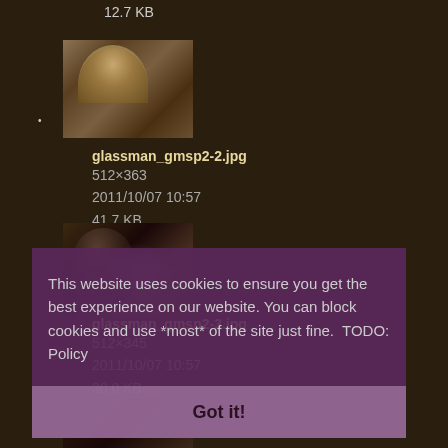12.7 KB
[Figure (screenshot): Thumbnail of a 3D game scene showing an arched interior room with stone walls and warm lighting]
glassman_gmsp2-2.jpg
512×363
2011/10/07 10:57
41.7 KB
[Figure (screenshot): Thumbnail of a dark scene with a humanoid figure and purple/smoke effects]
glassman_gmsp2-3.jpg
512×345
2011/10/07 10:57
30.0 KB
[Figure (screenshot): Partial thumbnail of another dark game scene]
This website uses cookies to ensure you get the best experience on our website. You can block cookies and use *most* of the site just fine.  TODO: Policy
Got it!